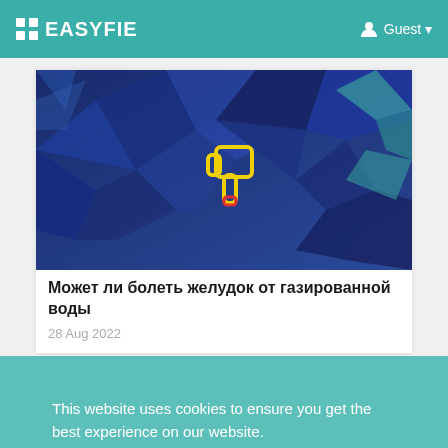EASYFIE | Guest
[Figure (illustration): Article thumbnail showing a blue geometric low-poly background with a yellow outlined pointing hand icon in the center]
Может ли болеть желудок от газированной воды
28 Aug 2022
Search
This website uses cookies to ensure you get the best experience on our website.
Learn More
Got it!